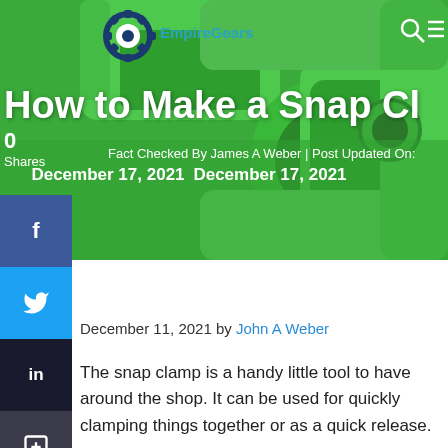[Figure (screenshot): Hero image of a green snap clamp tool, with EmpireGears logo overlay (gear icon + brand name in teal), search and menu icons top right, white bold title text 'How to Make a Snap Cl...' overlaid, shares count '0 Shares' and 'Fact Checked By James A Weber | Post Updated On: December 17, 2021' text overlay, green clamp background]
EmpireGears
How to Make a Snap Cl…
0
Shares
Fact Checked By James A Weber | Post Updated On: December 17, 2021
December 11, 2021 by John A Weber
The snap clamp is a handy little tool to have around the shop. It can be used for quickly clamping things together or as a quick release.